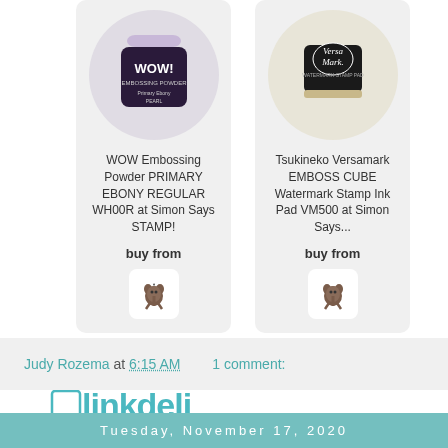[Figure (photo): WOW Embossing Powder jar with purple lid in a white circle]
WOW Embossing Powder PRIMARY EBONY REGULAR WH00R at Simon Says STAMP!
buy from
[Figure (logo): Simon Says Stamp dog logo icon]
[Figure (photo): Tsukineko Versamark black stamp ink pad in a white circle]
Tsukineko Versamark EMBOSS CUBE Watermark Stamp Ink Pad VM500 at Simon Says...
buy from
[Figure (logo): Simon Says Stamp dog logo icon]
[Figure (logo): linkdeli logo with powered by text]
Judy Rozema at 6:15 AM   1 comment:
Tuesday, November 17, 2020